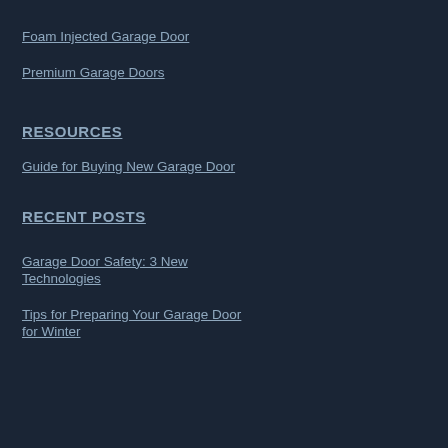Foam Injected Garage Door
Premium Garage Doors
RESOURCES
Guide for Buying New Garage Door
RECENT POSTS
Garage Door Safety: 3 New Technologies
Tips for Preparing Your Garage Door for Winter